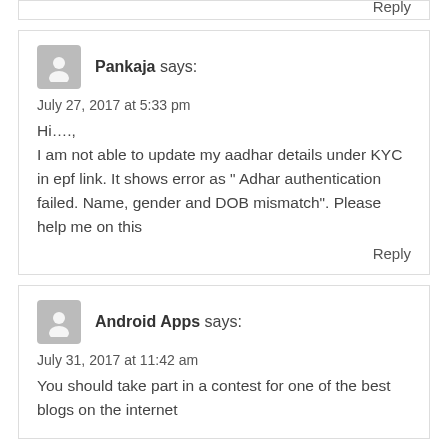Reply
Pankaja says:
July 27, 2017 at 5:33 pm
Hi….,
I am not able to update my aadhar details under KYC in epf link. It shows error as " Adhar authentication failed. Name, gender and DOB mismatch". Please help me on this
Reply
Android Apps says:
July 31, 2017 at 11:42 am
You should take part in a contest for one of the best blogs on the internet